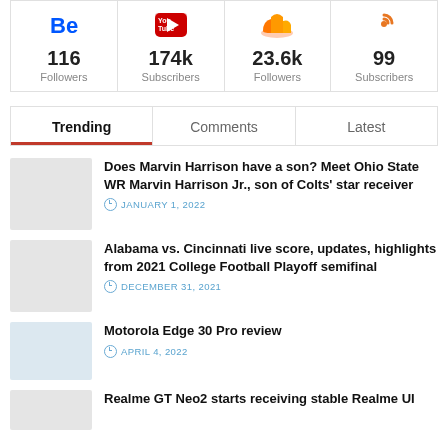| Behance | YouTube | SoundCloud | RSS |
| --- | --- | --- | --- |
| 116
Followers | 174k
Subscribers | 23.6k
Followers | 99
Subscribers |
Trending | Comments | Latest
Does Marvin Harrison have a son? Meet Ohio State WR Marvin Harrison Jr., son of Colts' star receiver — JANUARY 1, 2022
Alabama vs. Cincinnati live score, updates, highlights from 2021 College Football Playoff semifinal — DECEMBER 31, 2021
Motorola Edge 30 Pro review — APRIL 4, 2022
Realme GT Neo2 starts receiving stable Realme UI